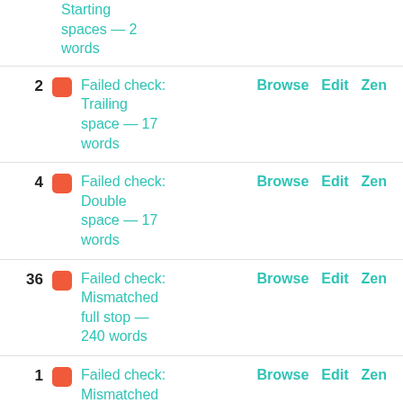Starting spaces — 2 words | Browse | Edit | Zen
2 Failed check: Trailing space — 17 words | Browse | Edit | Zen
4 Failed check: Double space — 17 words | Browse | Edit | Zen
36 Failed check: Mismatched full stop — 240 words | Browse | Edit | Zen
1 Failed check: Mismatched | Browse | Edit | Zen